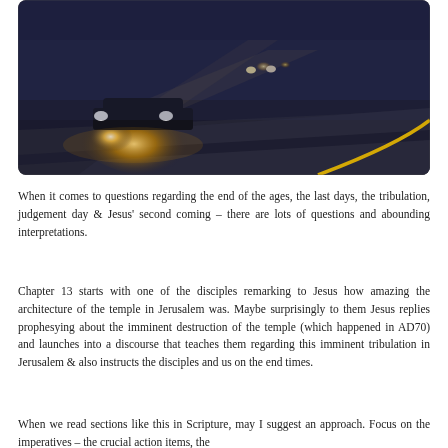[Figure (photo): A dark nighttime photo of cars on a road with bright headlights cutting through fog or mist. A yellow center line is visible on the road curving to the right.]
When it comes to questions regarding the end of the ages, the last days, the tribulation, judgement day & Jesus' second coming – there are lots of questions and abounding interpretations.
Chapter 13 starts with one of the disciples remarking to Jesus how amazing the architecture of the temple in Jerusalem was. Maybe surprisingly to them Jesus replies prophesying about the imminent destruction of the temple (which happened in AD70) and launches into a discourse that teaches them regarding this imminent tribulation in Jerusalem & also instructs the disciples and us on the end times.
When we read sections like this in Scripture, may I suggest an approach. Focus on the imperatives – the crucial action items, the